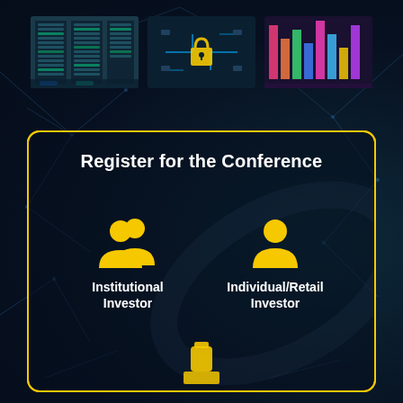[Figure (infographic): Three technology-themed images in a row at the top: server room, circuit board with lock, colorful data visualization]
Register for the Conference
[Figure (infographic): Two investor type icons with labels: Institutional Investor (two person silhouettes in gold) and Individual/Retail Investor (single person silhouette in gold), plus a partially visible third icon at the bottom]
Institutional Investor
Individual/Retail Investor